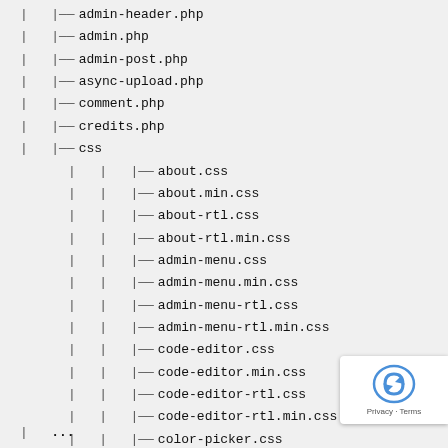| |-- admin-header.php
| |-- admin.php
| |-- admin-post.php
| |-- async-upload.php
| |-- comment.php
| |-- credits.php
| |-- css
| | |-- about.css
| | |-- about.min.css
| | |-- about-rtl.css
| | |-- about-rtl.min.css
| | |-- admin-menu.css
| | |-- admin-menu.min.css
| | |-- admin-menu-rtl.css
| | |-- admin-menu-rtl.min.css
| | |-- code-editor.css
| | |-- code-editor.min.css
| | |-- code-editor-rtl.css
| | |-- code-editor-rtl.min.css
| | |-- color-picker.css
| | |-- color-picker.min.css
| | |-- color-picker-rtl.css
| | |-- color-picker-rtl.min.css
| | |-- colors